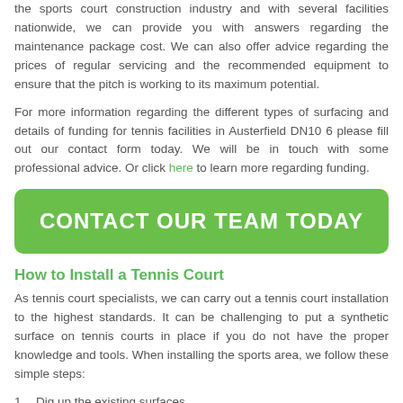the sports court construction industry and with several facilities nationwide, we can provide you with answers regarding the maintenance package cost. We can also offer advice regarding the prices of regular servicing and the recommended equipment to ensure that the pitch is working to its maximum potential.
For more information regarding the different types of surfacing and details of funding for tennis facilities in Austerfield DN10 6 please fill out our contact form today. We will be in touch with some professional advice. Or click here to learn more regarding funding.
[Figure (other): Green call-to-action button reading CONTACT OUR TEAM TODAY]
How to Install a Tennis Court
As tennis court specialists, we can carry out a tennis court installation to the highest standards. It can be challenging to put a synthetic surface on tennis courts in place if you do not have the proper knowledge and tools. When installing the sports area, we follow these simple steps:
1. Dig up the existing surfaces